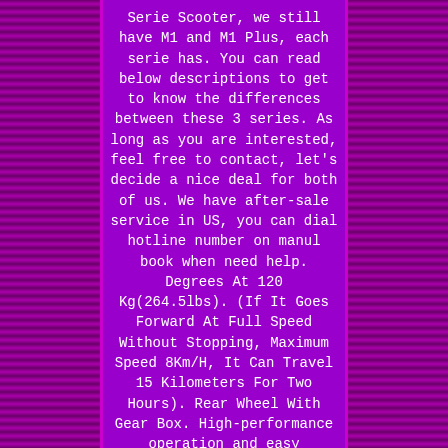Serie Scooter, we still have M1 and M1 Plus, each serie has. You can read below descriptions to get to know the differences between these 3 series. As long as you are interested, feel free to contact, let's decide a nice deal for both of us. We have after-sale service in US, you can dial hotline number on manul book when need help. Degrees At 120 Kg(264.5lbs). (If It Goes Forward At Full Speed Without Stopping, Maximum Speed 8Km/H, It Can Travel 15 Kilometers For Two Hours). Rear Wheel With Gear Box. High-performance operation and easy disassembly.
Sliding swivel seat with flip-up armrests. Simple control panel can operate with fingertips or thumbs effortlessly.
Red and Blue color options. [NO LED LIGHT] Compact Mobility Scooter. Tire Type & Hub Type.
Solid Tire/Aluminum Alloy Wheel Hub